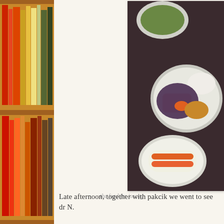[Figure (photo): Bookshelf with colorful book spines - reds, oranges, greens on wooden shelves]
[Figure (photo): Food tray with a plate of rice, eggplant and meat dish, a bowl of soup, and a white plate with an orange spring roll or dessert item]
the food for 'orang
Late afternoon, together with pakcik we went to see dr N.